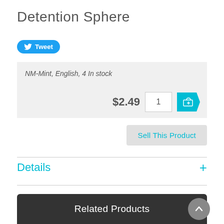Detention Sphere
[Figure (other): Twitter Tweet button (blue rounded rectangle with bird icon and 'Tweet' label)]
NM-Mint, English, 4 In stock
$2.49
Sell This Product
Details
Related Products